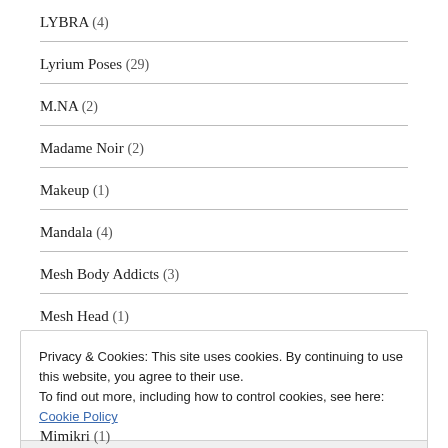LYBRA (4)
Lyrium Poses (29)
M.NA (2)
Madame Noir (2)
Makeup (1)
Mandala (4)
Mesh Body Addicts (3)
Mesh Head (1)
Privacy & Cookies: This site uses cookies. By continuing to use this website, you agree to their use.
To find out more, including how to control cookies, see here: Cookie Policy
Close and accept
Mimikri (1)